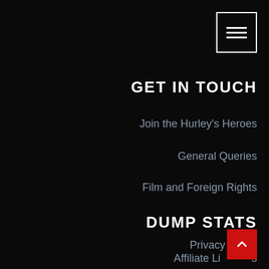[Figure (other): Hamburger menu button with three horizontal bars, white border on dark background]
GET IN TOUCH
Join the Hurley's Heroes
General Queries
Film and Foreign Rights
DUMP STATS
Privacy Policy
Affiliate Links
[Figure (other): Red scroll-to-top button with upward chevron arrow]